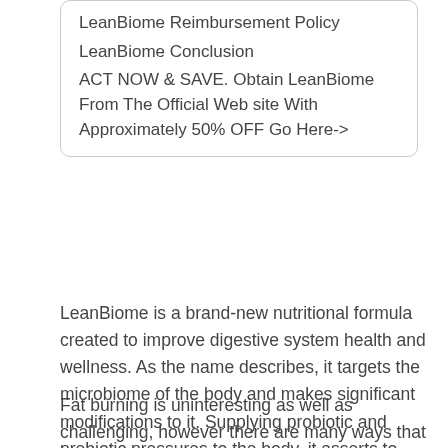LeanBiome Reimbursement Policy
LeanBiome Conclusion
ACT NOW & SAVE. Obtain LeanBiome From The Official Web site With Approximately 50% OFF Go Here->
LeanBiome is a brand-new nutritional formula created to improve digestive system health and wellness. As the name describes, it targets the microbiome of the body and makes significant modifications to it. Supplying probiotic and prebiotic pressures to the body, it asserts to reveal impressive results in the type of weight-loss leanbiome bad review.
Fat burning is uninteresting as well as challenging, however there are many ways that you can make